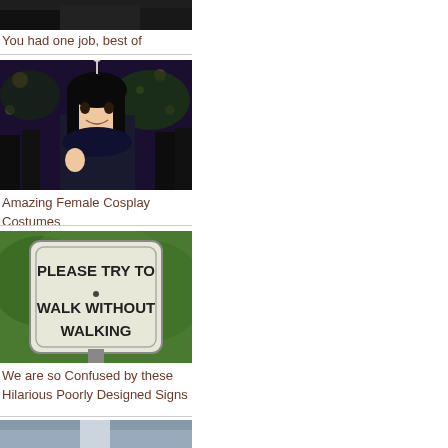[Figure (photo): Cropped top of an image, partial view]
You had one job, best of
[Figure (photo): Woman in cosplay costume with antenna headpiece at a crowded outdoor night event]
Amazing Female Cosplay Costumes
[Figure (photo): Sign reading PLEASE TRY TO WALK WITHOUT WALKING against green bushes background]
We are so Confused by these Hilarious Poorly Designed Signs
[Figure (photo): Partial view of bottom image, cropped]